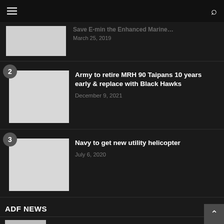Navigation menu and search
Army to retire MRH 90 Taipans 10 years early & replace with Black Hawks — December 9, 2021
Navy to get new utility helicopter — July 6, 2020
ADF NEWS